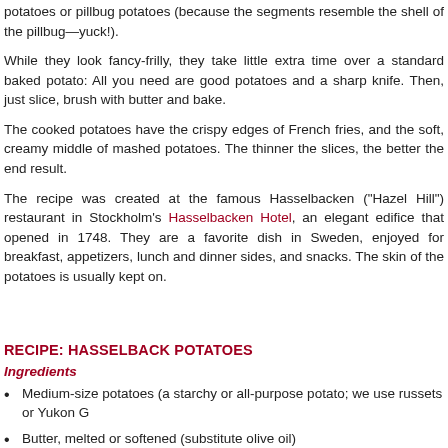potatoes or pillbug potatoes (because the segments resemble the shell of the pillbug—yuck!).
While they look fancy-frilly, they take little extra time over a standard baked potato: All you need are good potatoes and a sharp knife. Then, just slice, brush with butter and bake.
The cooked potatoes have the crispy edges of French fries, and the soft, creamy middle of mashed potatoes. The thinner the slices, the better the end result.
The recipe was created at the famous Hasselbacken ("Hazel Hill") restaurant in Stockholm's Hasselbacken Hotel, an elegant edifice that opened in 1748. They are a favorite dish in Sweden, enjoyed for breakfast, appetizers, lunch and dinner sides, and snacks. The skin of the potatoes is usually kept on.
RECIPE: HASSELBACK POTATOES
Ingredients
Medium-size potatoes (a starchy or all-purpose potato; we use russets or Yukon G…
Butter, melted or softened (substitute olive oil)
Salt and pepper